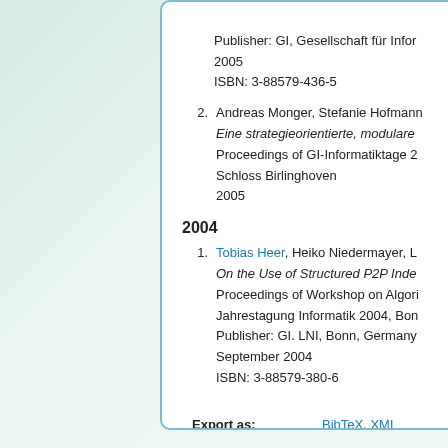Publisher: GI, Gesellschaft fur Info...
2005
ISBN: 3-88579-436-5
Andreas Monger, Stefanie Hofmann...
Eine strategieorientierte, modulare...
Proceedings of GI-Informatiktage 2...
Schloss Birlinghoven
2005
2004
Tobias Heer, Heiko Niedermayer, L...
On the Use of Structured P2P Inde...
Proceedings of Workshop on Algori...
Jahrestagung Informatik 2004, Bonn...
Publisher: GI. LNI, Bonn, Germany...
September 2004
ISBN: 3-88579-380-6
Export as: BibTeX, XML